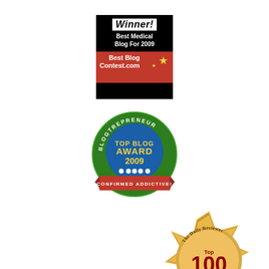[Figure (logo): Winner! Best Medical Blog For 2009 — BestBlogContest.com badge. Black background with white 'Winner!' text, red bottom section with site name and gold stars.]
[Figure (logo): Blogtrepreneur Top Blog Award 2009 badge. Green circular badge with blue center, yellow text 'TOP BLOG AWARD 2009', white dots, and red ribbon at bottom reading 'CONFIRMED ADDICTIVE!']
[Figure (logo): The Daily Reviewer Top 100 Blogs Best of the Web gold seal badge, partially cropped at bottom right of page. Gold starburst medallion with red '100' text.]